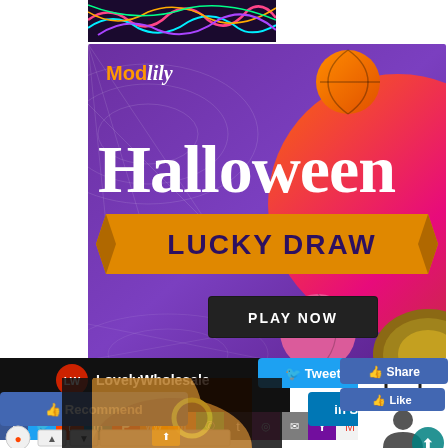[Figure (screenshot): Colorful abstract neon artwork image at top left]
[Figure (screenshot): Modlily Halloween Lucky Draw promotional banner with purple background, orange Halloween text, LUCKY DRAW orange ribbon banner, and PLAY NOW dark button]
[Figure (screenshot): LovelyWholesale social media sharing bar and UI overlay with social media share buttons: Facebook, Twitter, Reddit, LinkedIn, Pinterest, WhatsApp, Mix, Tumblr, Instagram, Email, Yahoo, Gmail, Skype, and social share/like buttons including Tweet, Recommend, Share, Like, Buffer, Pinterest Save, Xing Share]
[Figure (photo): Woman wearing gold hoop earrings, partial face visible]